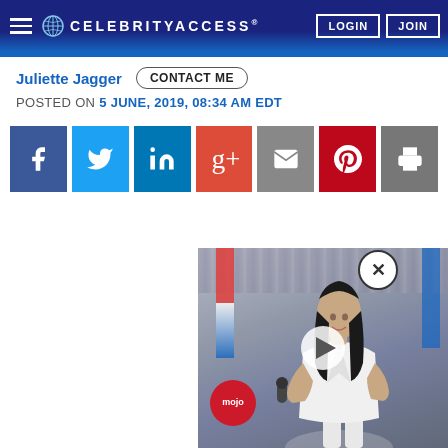CELEBRITYACCESS® — LOGIN | JOIN
Juliette Jagger   CONTACT ME
POSTED ON 5 JUNE, 2019, 08:34 AM EDT
[Figure (screenshot): Social media share buttons: Facebook, Twitter, LinkedIn, Google+, Email, Pinterest, Print]
[Figure (photo): Video thumbnail showing a woman in a white outfit singing at a microphone with flags in the background, and a Mojo logo watermark. A play button and close (X) button are overlaid.]